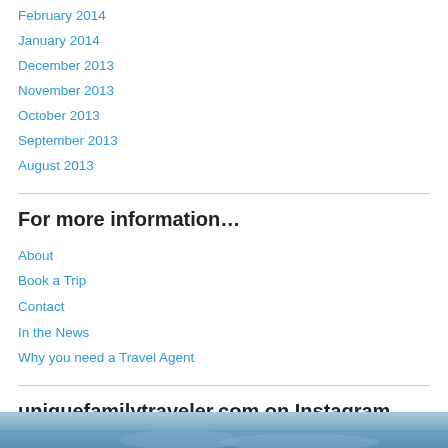February 2014
January 2014
December 2013
November 2013
October 2013
September 2013
August 2013
For more information…
About
Book a Trip
Contact
In the News
Why you need a Travel Agent
uniquefamilytraveler.com on Instagram
[Figure (photo): Partial photo visible at bottom of page, appears to be a travel/nature scene with blue tones]